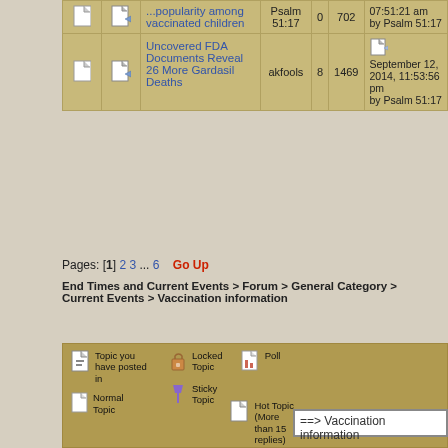|  |  | Topic | Author | Replies | Views | Last Post |
| --- | --- | --- | --- | --- | --- | --- |
| [icon] | [icon] | ...popularity among vaccinated children | Psalm 51:17 | 0 | 702 | 07:51:21 am by Psalm 51:17 |
| [icon] | [icon] | Uncovered FDA Documents Reveal 26 More Gardasil Deaths | akfools | 8 | 1469 | September 12, 2014, 11:53:56 pm by Psalm 51:17 |
Pages: [1] 2 3 ... 6   Go Up
End Times and Current Events > Forum > General Category > Current Events > Vaccination information
Topic you have posted in | Locked Topic | Sticky Topic | Normal Topic | Poll | Hot Topic (More than 15 replies)
===> Vaccination information